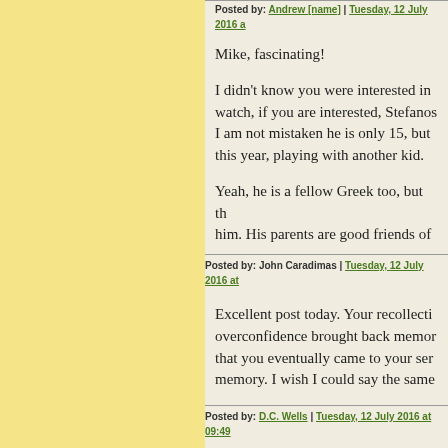Posted by: [name] | Tuesday, 12 July 2016 at ...
Mike, fascinating!

I didn't know you were interested in watch, if you are interested, Stefanos I am not mistaken he is only 15, but this year, playing with another kid.
Yeah, he is a fellow Greek too, but th him. His parents are good friends of
Posted by: John Caradimas | Tuesday, 12 July 2016 at
Excellent post today. Your recollecti overconfidence brought back memor that you eventually came to your ser memory. I wish I could say the same
Posted by: D.C. Wells | Tuesday, 12 July 2016 at 09:49